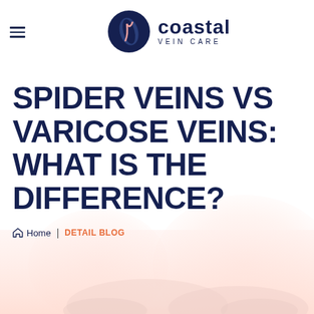[Figure (logo): Coastal Vein Care logo with dark navy circular icon and text]
SPIDER VEINS VS VARICOSE VEINS: WHAT IS THE DIFFERENCE?
Home | DETAIL BLOG